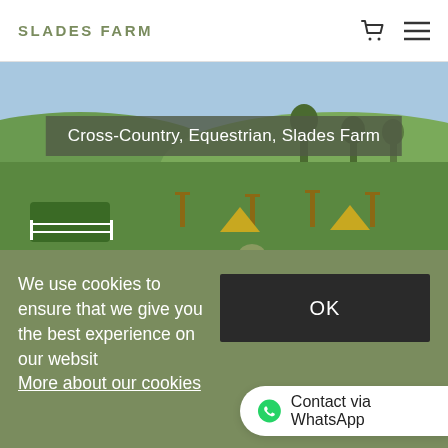SLADES FARM
[Figure (photo): Equestrian cross-country scene: a rider in a helmet on a white grey horse trotting across a sandy track with green rolling hills, cross-country jump obstacles (wooden pyramids, fences) visible in background under blue sky. Overlay banner reads 'Cross-Country, Equestrian, Slades Farm'.]
Cross-Country, Equestrian, Slades Farm
We use cookies to ensure that we give you the best experience on our website. More about our cookies
OK
Contact via WhatsApp